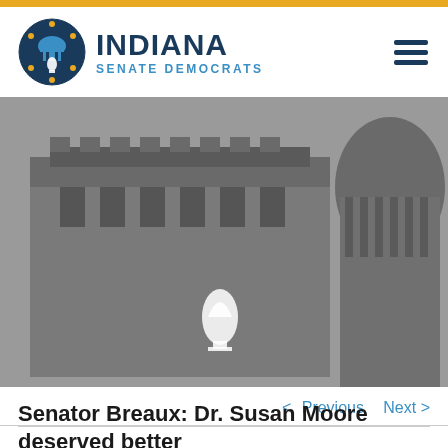Indiana Senate Democrats
[Figure (logo): Indiana Senate Democrats logo with torch/capitol building icon and text 'INDIANA SENATE DEMOCRATS']
[Figure (photo): Grayscale/sepia photo of the Indiana State Capitol building exterior with a flame/torch icon overlay in the center]
< Previous   Next >
Senator Breaux: Dr. Susan Moore deserved better